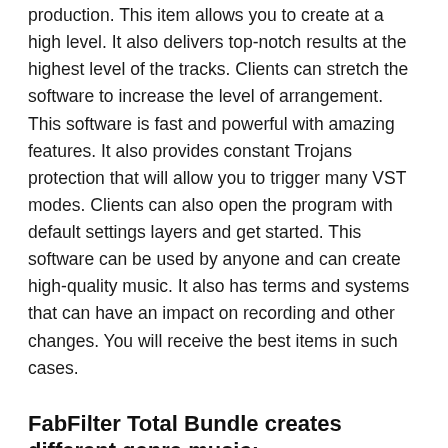production. This item allows you to create at a high level. It also delivers top-notch results at the highest level of the tracks. Clients can stretch the software to increase the level of arrangement. This software is fast and powerful with amazing features. It also provides constant Trojans protection that will allow you to trigger many VST modes. Clients can also open the program with default settings layers and get started. This software can be used by anyone and can create high-quality music. It also has terms and systems that can have an impact on recording and other changes. You will receive the best items in such cases.
FabFilter Total Bundle creates different genre music:
It is also useful in other areas of music creation, to create great music. It also offers external side-chain setting